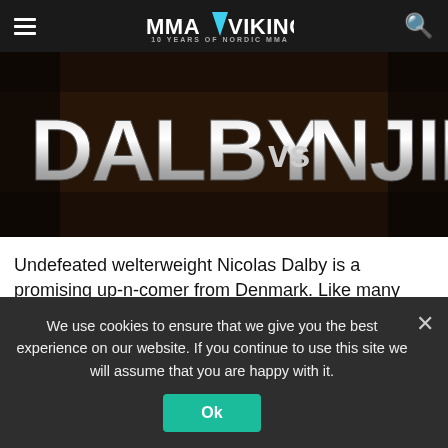MMA VIKING — 10 YEARS OF NORDIC MMA
[Figure (photo): Promotional fight poster showing 'DALBY vs NJIE' text in large metallic letters on a dark background]
Undefeated welterweight Nicolas Dalby is a promising up-n-comer from Denmark. Like many Nordic fighters, Dalby had an extensive amateur MMA career before jumping to professional fights. Since turning pro in 2010 the Rumble Sports gym's prospect has been on a roll and racked up 9 wins in little over
We use cookies to ensure that we give you the best experience on our website. If you continue to use this site we will assume that you are happy with it.
Ok